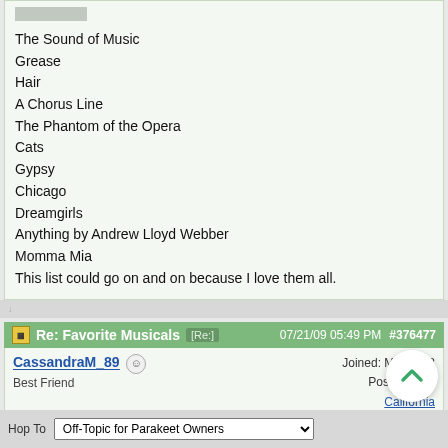The Sound of Music
Grease
Hair
A Chorus Line
The Phantom of the Opera
Cats
Gypsy
Chicago
Dreamgirls
Anything by Andrew Lloyd Webber
Momma Mia
This list could go on and on because I love them all.
Re: Favorite Musicals [Re:] 07/21/09 05:49 PM #376477
CassandraM_89  Best Friend  Joined: Mar 2008  Posts: 1,427  California
Does Labyrinth count as a musical? lol
Hop To: Off-Topic for Parakeet Owners